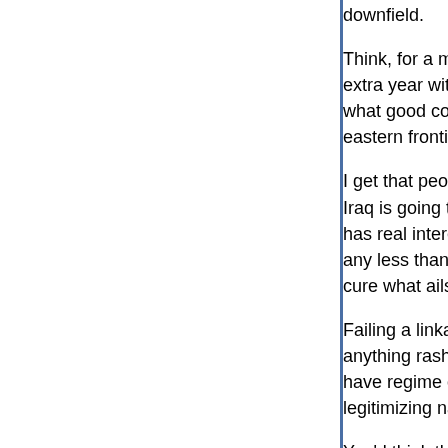downfield.
Think, for a moment, how much better the world would be with an extra year with full court press on AQ before changing strategy, or what good could come of embracing stability, rather than chaos, on the eastern frontier of Iraq.
I get that people are shocked, shocked to find that a democratic Iraq is going to be friendlier to Iran than the one we replaced. Iran has real interests in helping to shape the regime there (are they any less than ours, fer chrissakes!) But surely regarding that as a cure what ails the Iraq project, is madness of the...
Failing a linkage between Iran and Iraq, there's nothing to do anything rash in 2006 or 2007. Iran's far away from nuclear, may have regime change of its own, on a reasonable schedule, and we're legitimizing nationalism there.
You'd think the people who believed that democracy could, at the lest inspire, democratic change in the region would welcome the chance to work in the most democratic state (not perfect, but best) the ME. But no, it's become clear enough that they're not in it for benefits of Iraqi democracy afterall, but it's just another imperial thing.
Nobody could give me a good reason in late 2002...